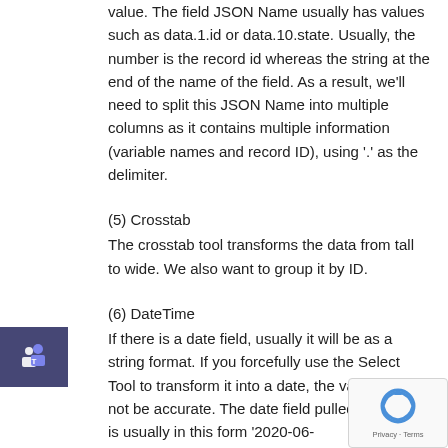value. The field JSON Name usually has values such as data.1.id or data.10.state. Usually, the number is the record id whereas the string at the end of the name of the field. As a result, we'll need to split this JSON Name into multiple columns as it contains multiple information (variable names and record ID), using '.' as the delimiter.
(5) Crosstab
The crosstab tool transforms the data from tall to wide. We also want to group it by ID.
(6) DateTime
If there is a date field, usually it will be as a string format. If you forcefully use the Select Tool to transform it into a date, the value may not be accurate. The date field pulled from API is usually in this form '2020-06-23T00:00:00.000000Z' so we have to use 'Custom' to specify the format. The configuration is as below. I can't stress enough the